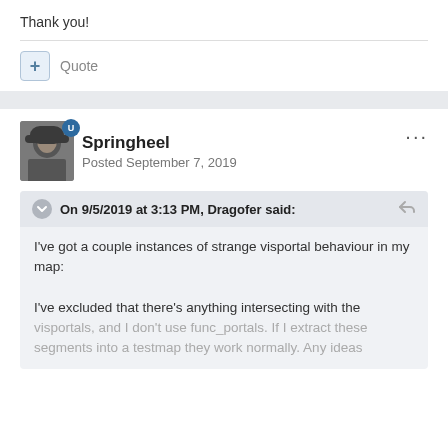Thank you!
Quote
Springheel
Posted September 7, 2019
On 9/5/2019 at 3:13 PM, Dragofer said:
I've got a couple instances of strange visportal behaviour in my map:

I've excluded that there's anything intersecting with the visportals, and I don't use func_portals. If I extract these segments into a testmap they work normally. Any ideas